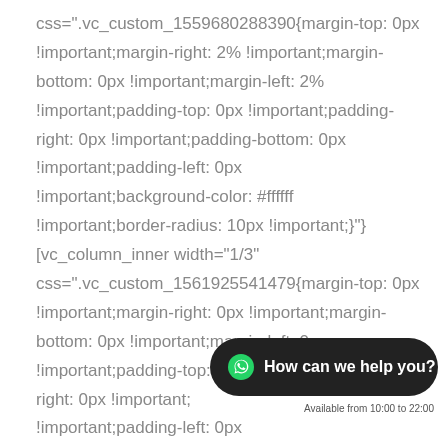css=".vc_custom_1559680288390{margin-top: 0px !important;margin-right: 2% !important;margin-bottom: 0px !important;margin-left: 2% !important;padding-top: 0px !important;padding-right: 0px !important;padding-bottom: 0px !important;padding-left: 0px !important;background-color: #ffffff !important;border-radius: 10px !important;}"]
[vc_column_inner width="1/3" css=".vc_custom_1561925541479{margin-top: 0px !important;margin-right: 0px !important;margin-bottom: 0px !important;margin-left: 0px !important;padding-top: 0px !important;padding-right: 0px !important;padding-left: 0px
[Figure (other): WhatsApp chat widget bubble with text 'How can we help you?' and subtext 'Available from 10:00 to 22:00']